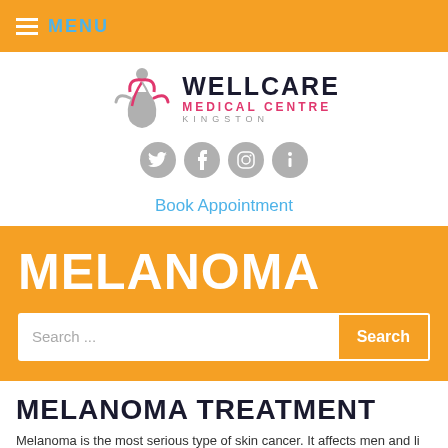MENU
[Figure (logo): Wellcare Medical Centre Kingston logo with stylized figure and text]
Book Appointment
MELANOMA
Search ...
MELANOMA TREATMENT
Melanoma is the most serious type of skin cancer. It affects men and li...